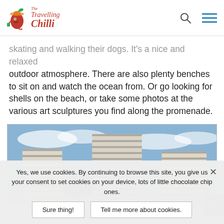The Travelling Chilli
skating and walking their dogs. It's a nice and relaxed outdoor atmosphere. There are also plenty benches to sit on and watch the ocean from. Or go looking for shells on the beach, or take some photos at the various art sculptures you find along the promenade.
[Figure (photo): Photograph of tall white apartment buildings with balconies under a blue sky, with trees and a mountain visible in the background.]
Yes, we use cookies. By continuing to browse this site, you give us your consent to set cookies on your device, lots of little chocolate chip ones.
Sure thing!
Tell me more about cookies.